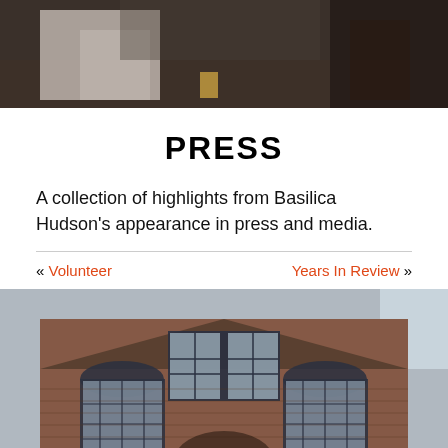[Figure (photo): Top photo showing people in an indoor space, dark tones with concrete floor]
PRESS
A collection of highlights from Basilica Hudson's appearance in press and media.
« Volunteer   Years In Review »
[Figure (photo): Exterior photo of Basilica Hudson brick building facade with arched windows]